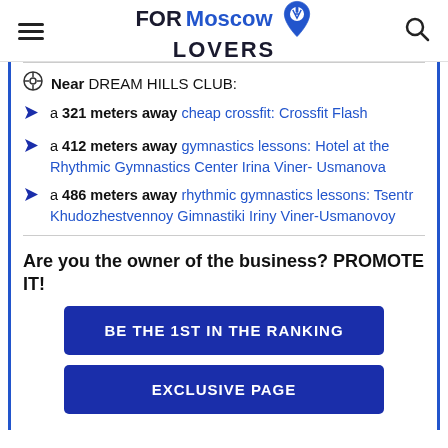FORMoscow LOVERS
Near DREAM HILLS CLUB:
a 321 meters away cheap crossfit: Crossfit Flash
a 412 meters away gymnastics lessons: Hotel at the Rhythmic Gymnastics Center Irina Viner- Usmanova
a 486 meters away rhythmic gymnastics lessons: Tsentr Khudozhestvennoy Gimnastiki Iriny Viner-Usmanovoy
Are you the owner of the business? PROMOTE IT!
BE THE 1ST IN THE RANKING
EXCLUSIVE PAGE